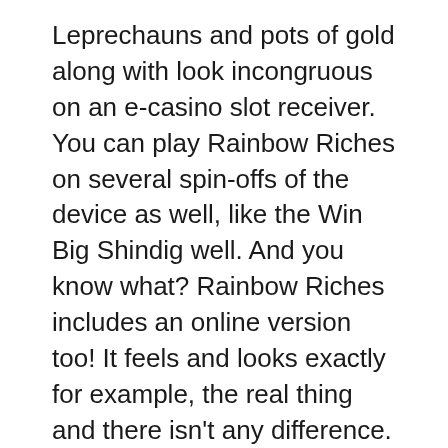Leprechauns and pots of gold along with look incongruous on an e-casino slot receiver. You can play Rainbow Riches on several spin-offs of the device as well, like the Win Big Shindig well. And you know what? Rainbow Riches includes an online version too! It feels and looks exactly for example, the real thing and there isn't any difference. Ought to there be any price tag? Both online and offline are computer controlled machines that use the same software system.
In general the largest payout can be paid once the maximum quantity of coins has been bet. Wish to lose . that if a superslot slot online casino machine accepts different coin denominations, it is certainly better perform the most of small coins as opposed to a lesser